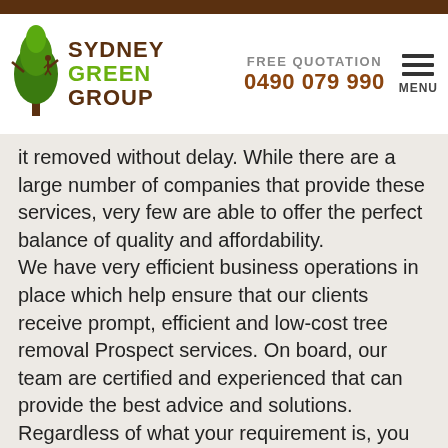[Figure (logo): Sydney Green Group logo with tree illustration and company name]
FREE QUOTATION
0490 079 990
MENU
it removed without delay. While there are a large number of companies that provide these services, very few are able to offer the perfect balance of quality and affordability.
We have very efficient business operations in place which help ensure that our clients receive prompt, efficient and low-cost tree removal Prospect services. On board, our team are certified and experienced that can provide the best advice and solutions. Regardless of what your requirement is, you can rest assured that the work will be completed to your 100% satisfaction.